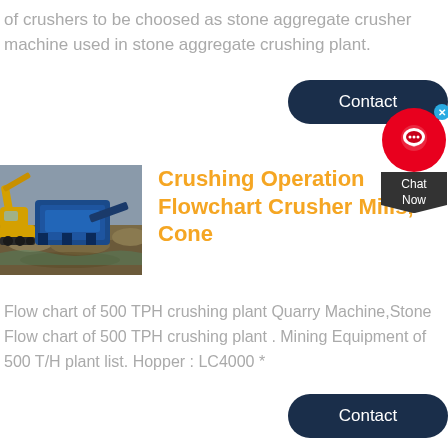of crushers to be choosed as stone aggregate crusher machine used in stone aggregate crushing plant.
[Figure (other): Contact button (dark navy rounded rectangle) with white text 'Contact']
[Figure (other): Chat widget with red circular icon and dark 'Chat Now' label]
[Figure (photo): Photo of a yellow excavator and blue crusher machine at a quarry/aggregate crushing site]
Crushing Operation Flowchart Crusher Mills, Cone
Flow chart of 500 TPH crushing plant Quarry Machine,Stone Flow chart of 500 TPH crushing plant . Mining Equipment of 500 T/H plant list. Hopper : LC4000 *
[Figure (other): Contact button (dark navy rounded rectangle) with white text 'Contact']